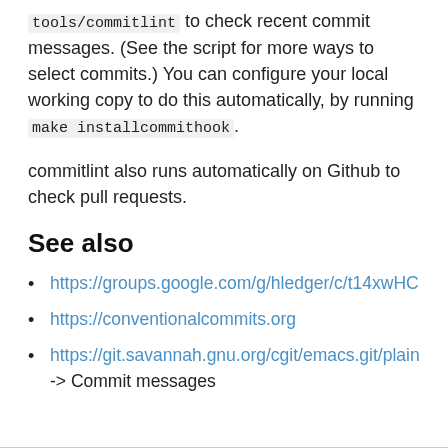tools/commitlint to check recent commit messages. (See the script for more ways to select commits.) You can configure your local working copy to do this automatically, by running make installcommithook.
commitlint also runs automatically on Github to check pull requests.
See also
https://groups.google.com/g/hledger/c/t14xwHC
https://conventionalcommits.org
https://git.savannah.gnu.org/cgit/emacs.git/plain -> Commit messages